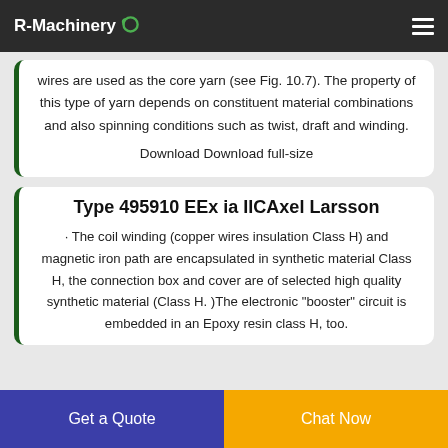R-Machinery
wires are used as the core yarn (see Fig. 10.7). The property of this type of yarn depends on constituent material combinations and also spinning conditions such as twist, draft and winding.
Download Download full-size
Type 495910 EEx ia IICAxel Larsson
· The coil winding (copper wires insulation Class H) and magnetic iron path are encapsulated in synthetic material Class H, the connection box and cover are of selected high quality synthetic material (Class H. )The electronic "booster" circuit is embedded in an Epoxy resin class H, too.